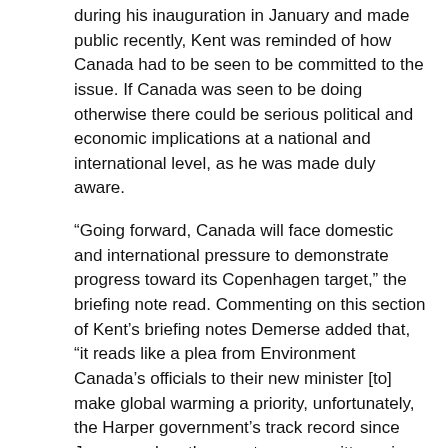during his inauguration in January and made public recently, Kent was reminded of how Canada had to be seen to be committed to the issue. If Canada was seen to be doing otherwise there could be serious political and economic implications at a national and international level, as he was made duly aware.
“Going forward, Canada will face domestic and international pressure to demonstrate progress toward its Copenhagen target,” the briefing note read. Commenting on this section of Kent’s briefing notes Demerse added that, “it reads like a plea from Environment Canada’s officials to their new minister [to] make global warming a priority, unfortunately, the Harper government’s track record since January, when these notes were written, gives us no evidence that the message got through.”
+++++++++++++++
CANADA’S GREEN HOUSE GAS COMMITMENT PROBLEM